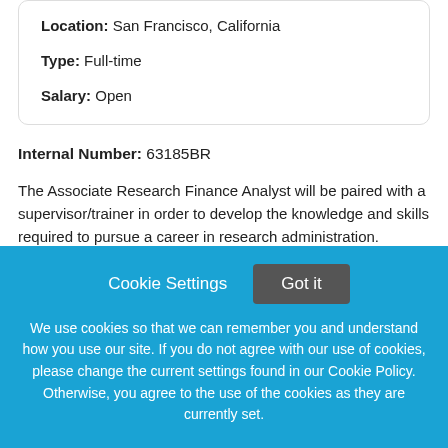Location: San Francisco, California
Type: Full-time
Salary: Open
Internal Number: 63185BR
The Associate Research Finance Analyst will be paired with a supervisor/trainer in order to develop the knowledge and skills required to pursue a career in research administration.
Cookie Settings
Got it
We use cookies so that we can remember you and understand how you use our site. If you do not agree with our use of cookies, please change the current settings found in our Cookie Policy. Otherwise, you agree to the use of the cookies as they are currently set.